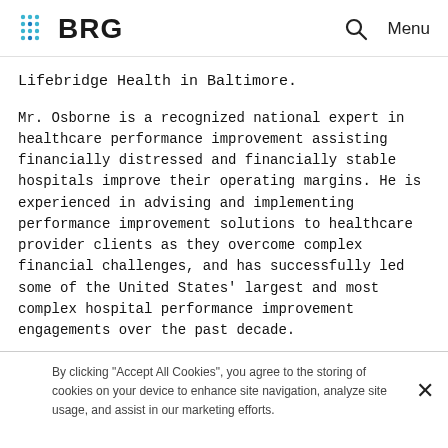BRG  🔍 Menu
Lifebridge Health in Baltimore.
Mr. Osborne is a recognized national expert in healthcare performance improvement assisting financially distressed and financially stable hospitals improve their operating margins. He is experienced in advising and implementing performance improvement solutions to healthcare provider clients as they overcome complex financial challenges, and has successfully led some of the United States' largest and most complex hospital performance improvement engagements over the past decade.
By clicking "Accept All Cookies", you agree to the storing of cookies on your device to enhance site navigation, analyze site usage, and assist in our marketing efforts.